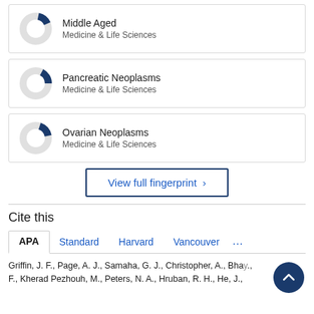[Figure (donut-chart): Small donut chart showing a small dark blue slice (~15%) for Middle Aged, Medicine & Life Sciences]
Middle Aged
Medicine & Life Sciences
[Figure (donut-chart): Small donut chart showing a small dark blue slice (~20%) for Pancreatic Neoplasms, Medicine & Life Sciences]
Pancreatic Neoplasms
Medicine & Life Sciences
[Figure (donut-chart): Small donut chart showing a small dark blue slice (~18%) for Ovarian Neoplasms, Medicine & Life Sciences]
Ovarian Neoplasms
Medicine & Life Sciences
View full fingerprint ›
Cite this
APA   Standard   Harvard   Vancouver   ...
Griffin, J. F., Page, A. J., Samaha, G. J., Christopher, A., Bhay., F., Kherad Pezhouh, M., Peters, N. A., Hruban, R. H., He, J.,